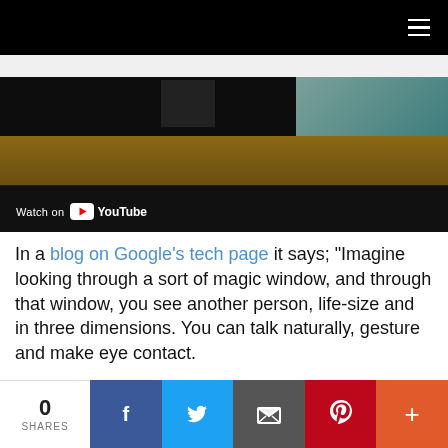Navigation bar with hamburger menu
[Figure (screenshot): YouTube embedded video thumbnail showing a dark room with a wooden desk surface. Bottom-left shows 'Watch on YouTube' badge with YouTube logo.]
In a blog on Google's tech page it says; "Imagine looking through a sort of magic window, and through that window, you see another person, life-size and in three dimensions. You can talk naturally, gesture and make eye contact.
"To make this experience possible, we are
0 SHARES | Facebook | Twitter | Email | Pinterest | More